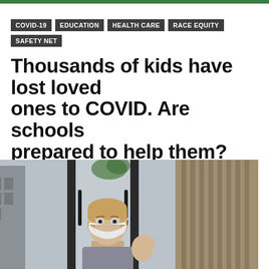COVID-19
EDUCATION
HEALTH CARE
RACE EQUITY
SAFETY NET
Thousands of kids have lost loved ones to COVID. Are schools prepared to help them?
BY: ALLISON R. DONAHUE – APRIL 16, 2021   4:15 AM
[Figure (photo): A child wearing a white face mask looks through a glass door or window, pressing one hand against the glass. The background shows an urban setting with buildings visible through the glass.]